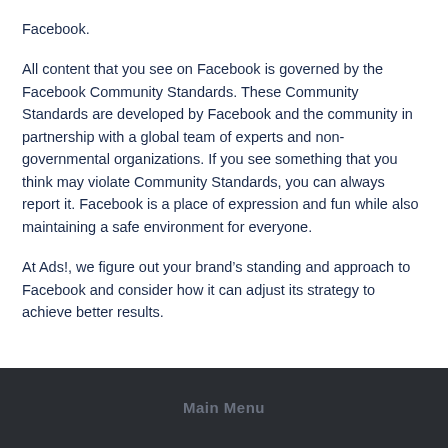Facebook.
All content that you see on Facebook is governed by the Facebook Community Standards. These Community Standards are developed by Facebook and the community in partnership with a global team of experts and non-governmental organizations. If you see something that you think may violate Community Standards, you can always report it. Facebook is a place of expression and fun while also maintaining a safe environment for everyone.
At Ads!, we figure out your brand's standing and approach to Facebook and consider how it can adjust its strategy to achieve better results.
Main Menu